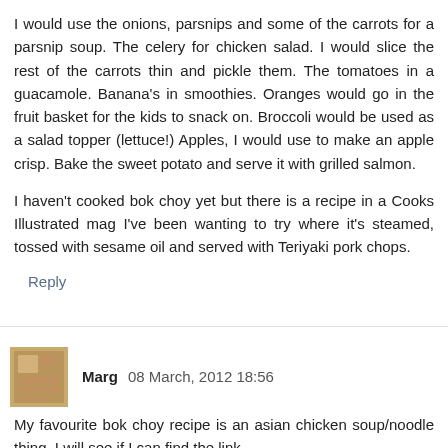I would use the onions, parsnips and some of the carrots for a parsnip soup. The celery for chicken salad. I would slice the rest of the carrots thin and pickle them. The tomatoes in a guacamole. Banana's in smoothies. Oranges would go in the fruit basket for the kids to snack on. Broccoli would be used as a salad topper (lettuce!) Apples, I would use to make an apple crisp. Bake the sweet potato and serve it with grilled salmon.
I haven't cooked bok choy yet but there is a recipe in a Cooks Illustrated mag I've been wanting to try where it's steamed, tossed with sesame oil and served with Teriyaki pork chops.
Reply
Marg 08 March, 2012 18:56
My favourite bok choy recipe is an asian chicken soup/noodle thing. I will see if I can find the link.
As to the rest, I don't think I have ever roasted broccoli. I